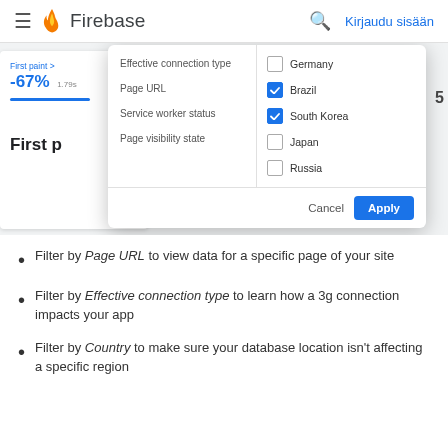Firebase — Kirjaudu sisään
[Figure (screenshot): Firebase console screenshot showing a filter dropdown with country checkboxes (Germany unchecked, Brazil checked, South Korea checked, Japan unchecked, Russia unchecked) and filter options (Effective connection type, Page URL, Service worker status, Page visibility state), with Cancel and Apply buttons. Background shows a performance card with First paint -67% and 1.79s.]
Filter by Page URL to view data for a specific page of your site
Filter by Effective connection type to learn how a 3g connection impacts your app
Filter by Country to make sure your database location isn't affecting a specific region